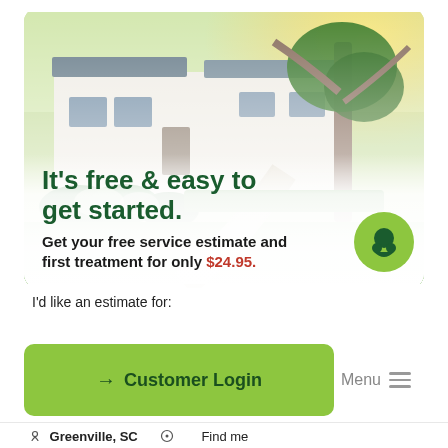[Figure (photo): Photograph of a well-maintained suburban home with a lush green lawn, curved concrete driveway, flowering bushes, and a large tree with warm sunlight visible in the upper right corner.]
It’s free & easy to get started.
Get your free service estimate and first treatment for only $24.95.
I’d like an estimate for:
→ Customer Login
Menu
Greenville, SC
Find me